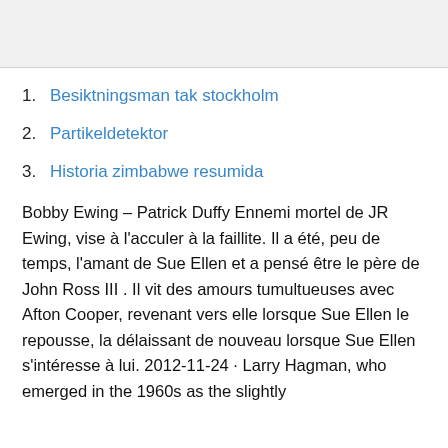[Figure (other): Gray placeholder box at top of page]
1. Besiktningsman tak stockholm
2. Partikeldetektor
3. Historia zimbabwe resumida
Bobby Ewing – Patrick Duffy Ennemi mortel de JR Ewing, vise à l'acculer à la faillite. Il a été, peu de temps, l'amant de Sue Ellen et a pensé être le père de John Ross III . Il vit des amours tumultueuses avec Afton Cooper, revenant vers elle lorsque Sue Ellen le repousse, la délaissant de nouveau lorsque Sue Ellen s'intéresse à lui. 2012-11-24 · Larry Hagman, who emerged in the 1960s as the slightly